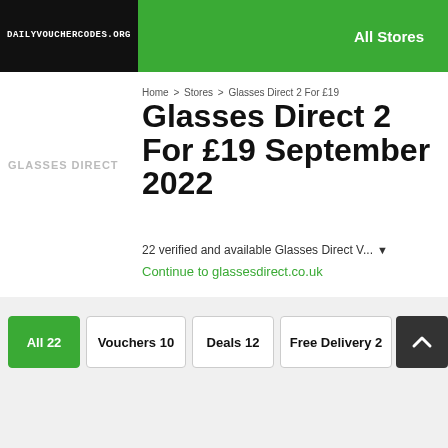DAILYVOUCHERCODES.ORG | All Stores
Home > Stores > Glasses Direct 2 For £19
Glasses Direct 2 For £19 September 2022
GLASSES DIRECT
22 verified and available Glasses Direct V... ▼
Continue to glassesdirect.co.uk
All 22
Vouchers 10
Deals 12
Free Delivery 2